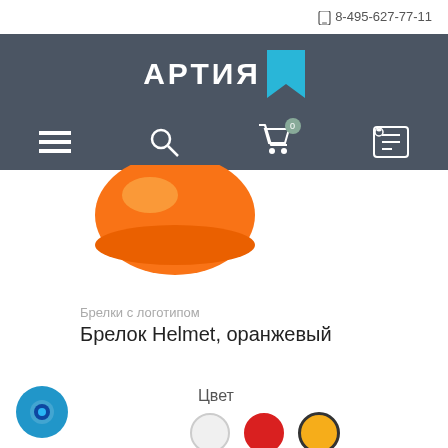📞 8-495-627-77-11
[Figure (logo): АРТИЯ logo with blue bookmark icon on dark grey background]
[Figure (infographic): Navigation bar with hamburger menu, search, cart (0 items), and profile icons on dark grey background]
[Figure (photo): Orange helmet keychain product photo]
Брелки с логотипом
Брелок Helmet, оранжевый
Цвет
[Figure (infographic): Color swatches: white, red, yellow/orange (selected with dark border)]
[Figure (other): Blue chat/support button in bottom left corner]